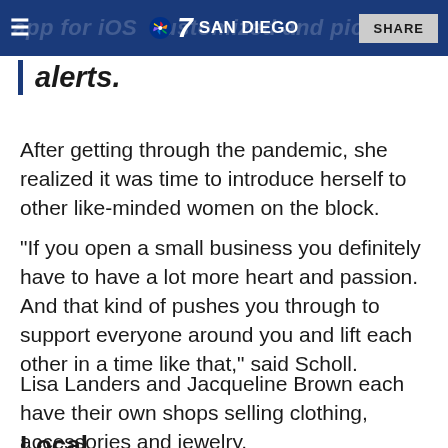7 SAN DIEGO | SHARE
alerts.
After getting through the pandemic, she realized it was time to introduce herself to other like-minded women on the block.
"If you open a small business you definitely have to have a lot more heart and passion. And that kind of pushes you through to support everyone around you and lift each other in a time like that," said Scholl.
Lisa Landers and Jacqueline Brown each have their own shops selling clothing, accessories and jewelry.
Local